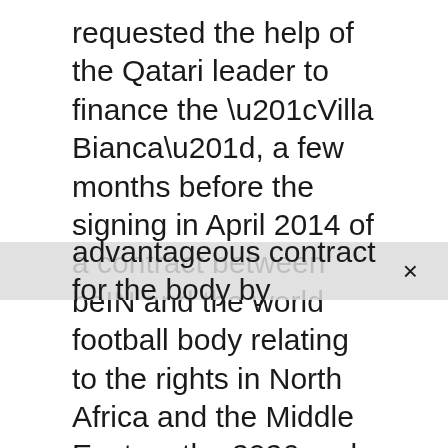The former secretary general of Fifa had requested the help of the Qatari leader to finance the “Villa Bianca”, a few months before the signing in April 2014 of a contract between beIN and the world football body relating to the rights in North Africa and the Middle East on the 2026 and 2030 World Cups. But as in the first instance, the Court of Appeal found that Fifa had not suffered any “shame”. A point legally necessary to establish unfair management.
In addition, beIN had signed a very advantageous contract for the body by